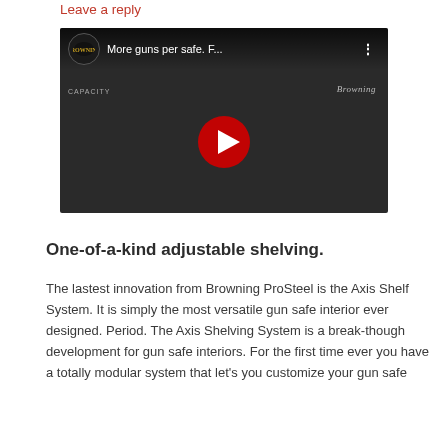Leave a reply
[Figure (screenshot): YouTube video thumbnail showing 'More guns per safe. F...' with Browning logo, play button, and gun safe interior imagery on dark background]
One-of-a-kind adjustable shelving.
The lastest innovation from Browning ProSteel is the Axis Shelf System. It is simply the most versatile gun safe interior ever designed. Period. The Axis Shelving System is a break-though development for gun safe interiors. For the first time ever you have a totally modular system that let's you customize your gun safe